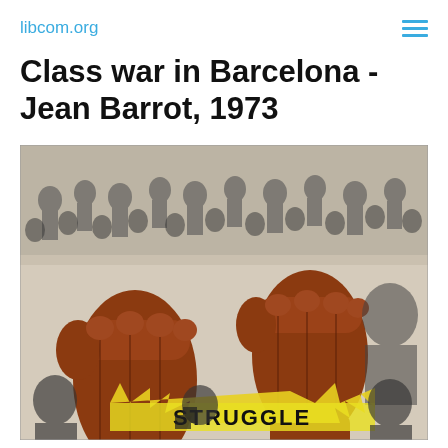libcom.org
Class war in Barcelona - Jean Barrot, 1973
[Figure (illustration): Book or pamphlet cover image featuring two raised brown fists over a collage of black-and-white crowd/protest photographs, with the word 'STRUGGLE' written in bold across the bottom center, and additional figures and imagery including a broken swastika symbol.]